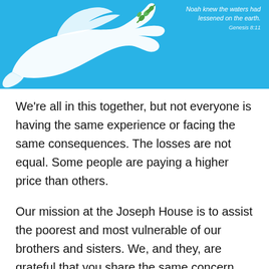[Figure (illustration): Blue banner with a white dove silhouette holding a green olive branch, and a biblical quote in white text: 'Noah knew the waters had lessened on the earth.' with reference 'Genesis 8:11']
We're all in this together, but not everyone is having the same experience or facing the same consequences. The losses are not equal. Some people are paying a higher price than others.
Our mission at the Joseph House is to assist the poorest and most vulnerable of our brothers and sisters. We, and they, are grateful that you share the same concern. Although our Soup Kitchen at the Joseph House Crisis Center remains closed, the Food Pantry, Hospitality Room, and Financial